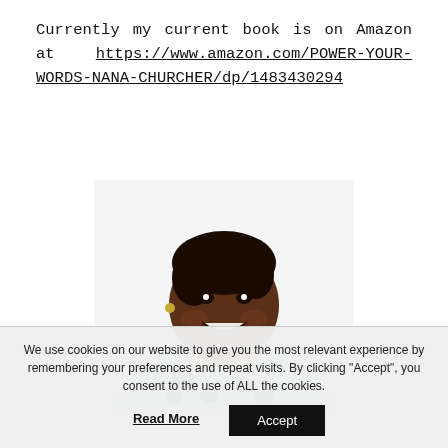Currently my current book is on Amazon at https://www.amazon.com/POWER-YOUR-WORDS-NANA-CHURCHER/dp/1483430294
[Figure (photo): Portrait photo of a smiling woman with short hair, wearing a leopard-print blue jacket and gold necklace, on a white background.]
We use cookies on our website to give you the most relevant experience by remembering your preferences and repeat visits. By clicking "Accept", you consent to the use of ALL the cookies.